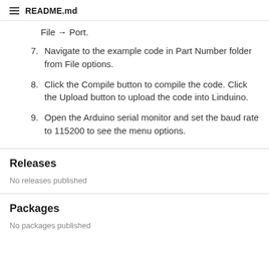README.md
File → Port.
7. Navigate to the example code in Part Number folder from File options.
8. Click the Compile button to compile the code. Click the Upload button to upload the code into Linduino.
9. Open the Arduino serial monitor and set the baud rate to 115200 to see the menu options.
Releases
No releases published
Packages
No packages published